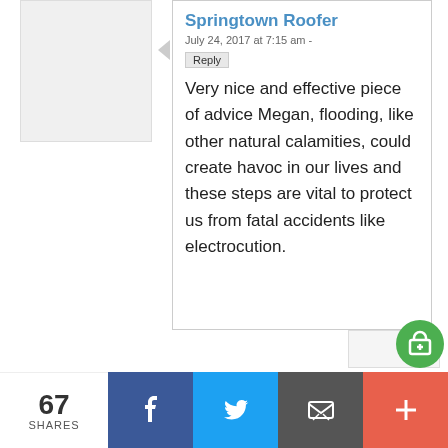[Figure (photo): Avatar placeholder box for commenter]
Springtown Roofer
July 24, 2017 at 7:15 am -
Reply
Very nice and effective piece of advice Megan, flooding, like other natural calamities, could create havoc in our lives and these steps are vital to protect us from fatal accidents like electrocution.
Leave A Response
67 SHARES